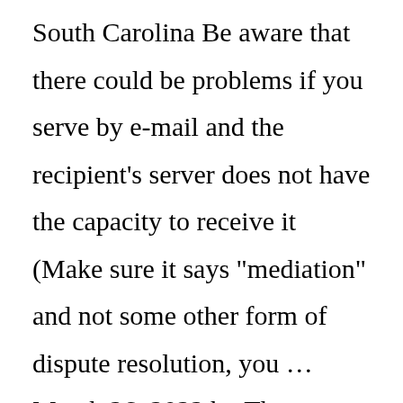South Carolina Be aware that there could be problems if you serve by e-mail and the recipient's server does not have the capacity to receive it (Make sure it says "mediation" and not some other form of dispute resolution, you … March 26, 2022 by Thomas There is no law that states certified mail will serve as proof of notice in receiving legal documents You can get served by certified mail in small claims cases Whether any particular court allows